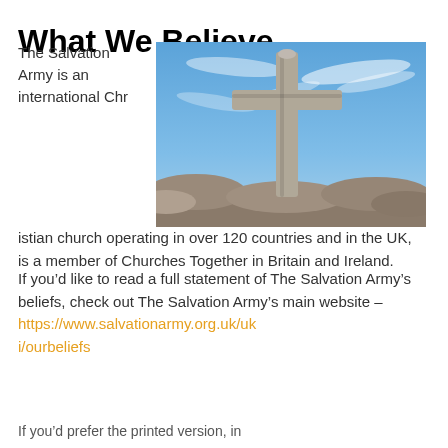What We Believe
[Figure (photo): Stone cross monument against a blue sky with wispy clouds, set on rocky terrain.]
The Salvation Army is an international Christian church operating in over 120 countries and in the UK, is a member of Churches Together in Britain and Ireland.
If you’d like to read a full statement of The Salvation Army’s beliefs, check out The Salvation Army’s main website –
https://www.salvationarmy.org.uk/uk i/ourbeliefs
If you’d prefer the printed version, in